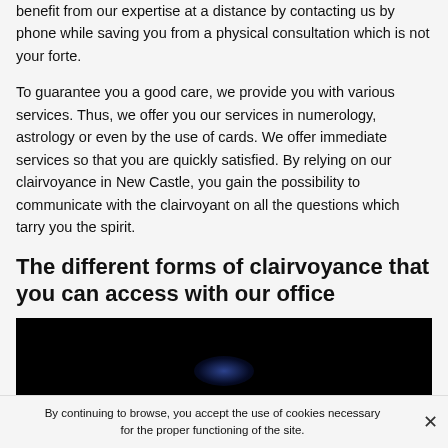benefit from our expertise at a distance by contacting us by phone while saving you from a physical consultation which is not your forte.
To guarantee you a good care, we provide you with various services. Thus, we offer you our services in numerology, astrology or even by the use of cards. We offer immediate services so that you are quickly satisfied. By relying on our clairvoyance in New Castle, you gain the possibility to communicate with the clairvoyant on all the questions which tarry you the spirit.
The different forms of clairvoyance that you can access with our office
[Figure (photo): Dark nighttime photo with faint blue glowing light in the center and bottom, mostly black background suggesting a mystical or space-like scene.]
By continuing to browse, you accept the use of cookies necessary for the proper functioning of the site.